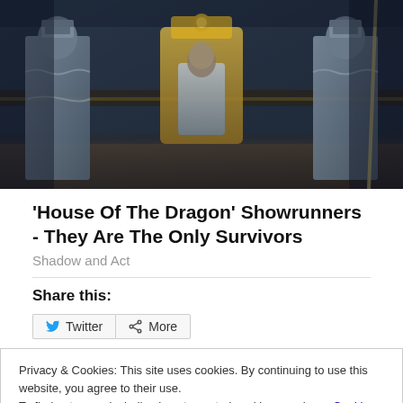[Figure (photo): Scene from 'House of the Dragon' showing armored knights flanking a figure seated on a throne, in a dark cinematic setting]
'House Of The Dragon' Showrunners - They Are The Only Survivors
Shadow and Act
Share this:
Privacy & Cookies: This site uses cookies. By continuing to use this website, you agree to their use.
To find out more, including how to control cookies, see here: Cookie Policy